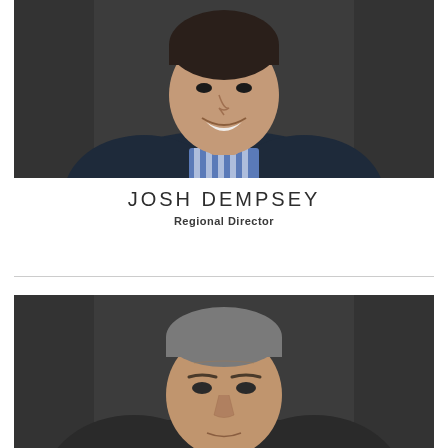[Figure (photo): Professional headshot of Josh Dempsey, a man in a navy blazer with a blue striped shirt, smiling, against a dark gray background]
JOSH DEMPSEY
Regional Director
[Figure (photo): Professional headshot of a man with salt-and-pepper hair against a dark gray background, partially cropped]